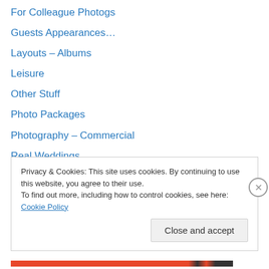For Colleague Photogs
Guests Appearances…
Layouts – Albums
Leisure
Other Stuff
Photo Packages
Photography – Commercial
Real Weddings
Sweet Sixteen Corner
Unique DIY & Tips
Venues
Privacy & Cookies: This site uses cookies. By continuing to use this website, you agree to their use. To find out more, including how to control cookies, see here: Cookie Policy
Close and accept